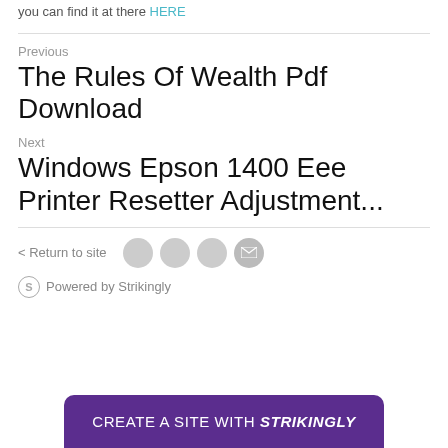you can find it at there HERE
Previous
The Rules Of Wealth Pdf Download
Next
Windows Epson 1400 Eee Printer Resetter Adjustment...
< Return to site
Powered by Strikingly
CREATE A SITE WITH strikingly